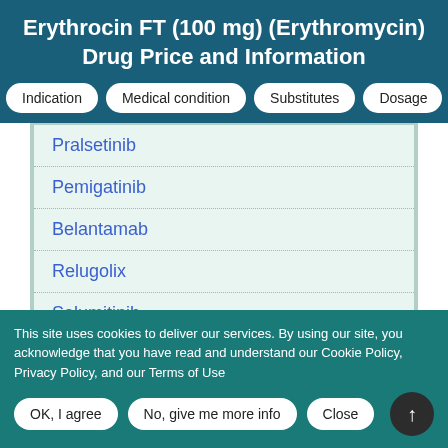Erythrocin FT (100 mg) (Erythromycin) Drug Price and Information
Indication
Medical condition
Substitutes
Dosage
Pralsetinib
Pemigatinib
Belantamab
Relugolix
Selumitinib
This site uses cookies to deliver our services. By using our site, you acknowledge that you have read and understand our Cookie Policy, Privacy Policy, and our Terms of Use
OK, I agree | No, give me more info | Close